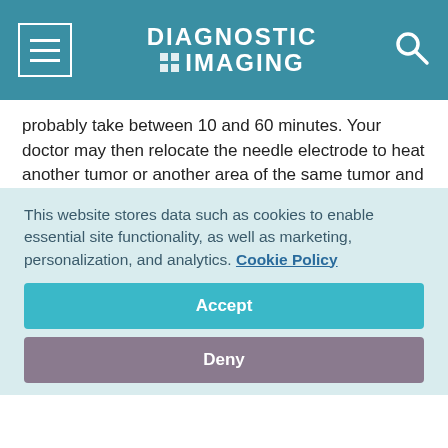DIAGNOSTIC IMAGING
probably take between 10 and 60 minutes. Your doctor may then relocate the needle electrode to heat another tumor or another area of the same tumor and repeat the process.
The needle electrode will be withdrawn, and the insertion site will be bandaged. Your doctor will not remove the tumor-the dead tissue will shrink and will gradually be replaced by scar tissue. Your doctor will monitor the tumor site with imaging technology to see if the tumor returns. If it does, RFA can be
This website stores data such as cookies to enable essential site functionality, as well as marketing, personalization, and analytics. Cookie Policy
Accept
Deny